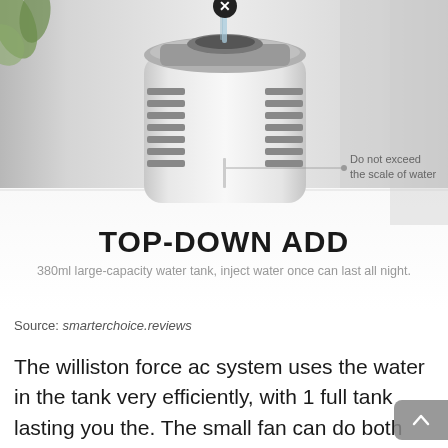[Figure (photo): Product photo of a portable evaporative air cooler (white cylindrical unit) on a white table, being filled with water from the top. Has gray ventilation grilles on sides and a water level indicator. Annotated with 'Do not exceed the scale of water'. Overlaid text reads 'TOP-DOWN ADD' in bold, with subtitle '380ml large-capacity water tank, inject water once can last all night.']
Source: smarterchoice.reviews
The williston force ac system uses the water in the tank very efficiently, with 1 full tank lasting you the. The small fan can do both and is therefore a very good substitute.